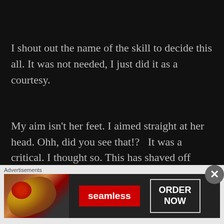I shout out the name of the skill to decide this all. It was not needed, I just did it as a courtesy.
My aim isn't her feet. I aimed straight at her head. Ohh, did you see that!?   It was a critical. I thought so. This has shaved off Anko's remaining HP to below 20%.
[Figure (other): Advertisement banner showing pizza image on left, Seamless red logo in center, and ORDER NOW button on right, on dark background]